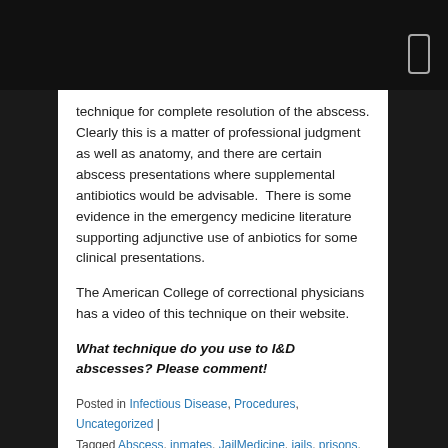technique for complete resolution of the abscess. Clearly this is a matter of professional judgment as well as anatomy, and there are certain abscess presentations where supplemental antibiotics would be advisable. There is some evidence in the emergency medicine literature supporting adjunctive use of anbiotics for some clinical presentations.
The American College of correctional physicians has a video of this technique on their website.
What technique do you use to I&D abscesses? Please comment!
Posted in Infectious Disease, Procedures, Uncategorized | Tagged Abscess, inmates, JailMedicine, jails, prisons, Todd Wilcox | 2 Replies